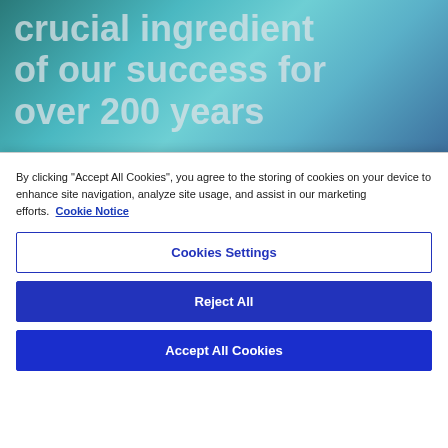[Figure (photo): Hero background image with teal/blue gradient overlay showing scientific or industrial imagery (blurred), with large light gray italic text reading 'crucial ingredient of our success for over 200 years']
By clicking “Accept All Cookies”, you agree to the storing of cookies on your device to enhance site navigation, analyze site usage, and assist in our marketing efforts. Cookie Notice
Cookies Settings
Reject All
Accept All Cookies